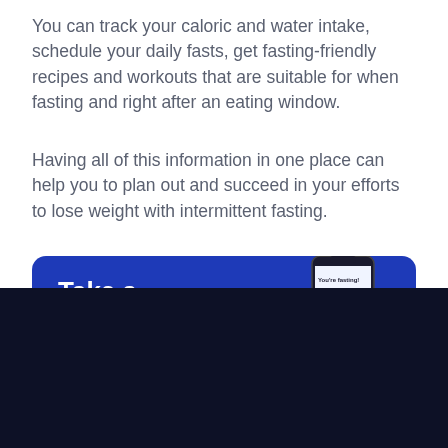You can track your caloric and water intake, schedule your daily fasts, get fasting-friendly recipes and workouts that are suitable for when fasting and right after an eating window.
Having all of this information in one place can help you to plan out and succeed in your efforts to lose weight with intermittent fasting.
[Figure (screenshot): Blue promotional banner with bold white text 'Take a' on the left and a smartphone mockup on the right showing a fasting app screen.]
We use cookies to improve our services and visitor experience. Your preferences may be changed or withdrawn at any time. For more information, please see our Privacy Policy
OK